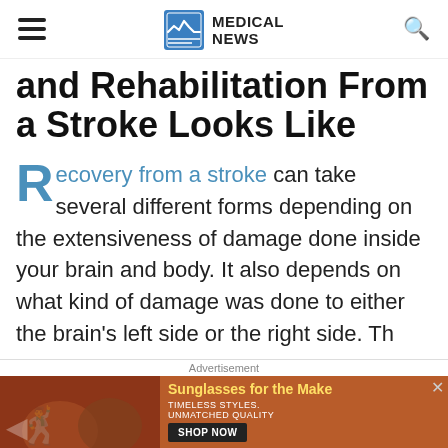MEDICAL NEWS
and Rehabilitation From a Stroke Looks Like
Recovery from a stroke can take several different forms depending on the extensiveness of damage done inside your brain and body. It also depends on what kind of damage was done to either the brain's left side or the right side. Th…
Advertisement
[Figure (photo): Advertisement banner showing two women wearing sunglasses with text 'Sunglasses for the Make' and 'SHOP NOW' button]